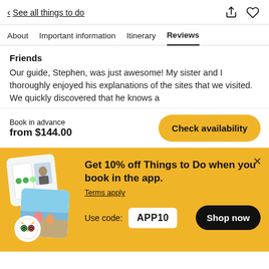< See all things to do
About  Important information  Itinerary  Reviews
Friends
Our guide, Stephen, was just awesome! My sister and I thoroughly enjoyed his explanations of the sites that we visited. We quickly discovered that he knows a
Book in advance
from $144.00
Check availability
Get 10% off Things to Do when you book in the app.
Terms apply
Use code: APP10
Shop now